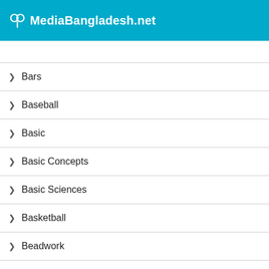MediaBangladesh.net
Bars
Baseball
Basic
Basic Concepts
Basic Sciences
Basketball
Beadwork
Bears
Beatles